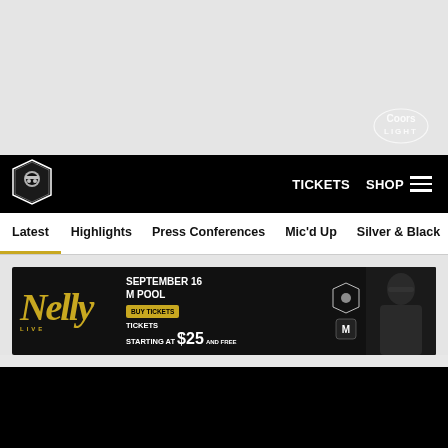[Figure (screenshot): Top gray advertisement area with Coors Light logo in bottom right]
TICKETS  SHOP  ☰
[Figure (logo): Las Vegas Raiders shield logo in black navigation bar]
Latest  Highlights  Press Conferences  Mic'd Up  Silver & Black
[Figure (infographic): Nelly Live concert advertisement banner: September 16 M Pool, Tickets Starting at $25]
[Figure (screenshot): Dark video player area at bottom]